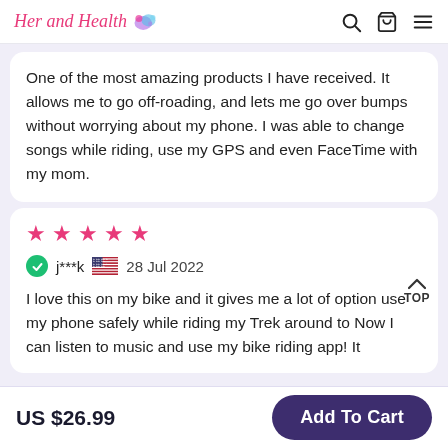Her and Health
One of the most amazing products I have received. It allows me to go off-roading, and lets me go over bumps without worrying about my phone. I was able to change songs while riding, use my GPS and even FaceTime with my mom.
★★★★★
j***k  🇺🇸  28 Jul 2022
I love this on my bike and it gives me a lot of option use my phone safely while riding my Trek around to Now I can listen to music and use my bike riding app! It
US $26.99
Add To Cart